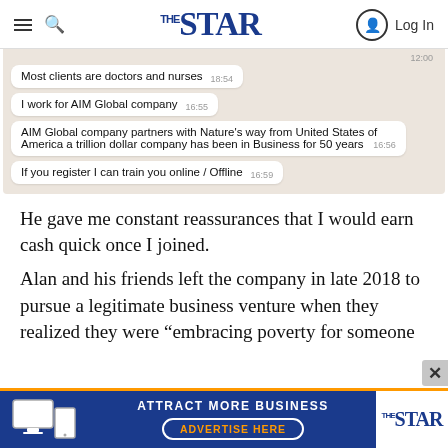The Star — Log In
[Figure (screenshot): WhatsApp chat screenshot showing messages: 'Most clients are doctors and nurses' (18:54), 'I work for AIM Global company' (16:55), 'AIM Global company partners with Nature’s way from United States of America a trillion dollar company has been in Business for 50 years' (16:56), 'If you register I can train you online / Offline' (16:59)]
He gave me constant reassurances that I would earn cash quick once I joined.
Alan and his friends left the company in late 2018 to pursue a legitimate business venture when they realized they were “embracing poverty for someone…
[Figure (other): Advertisement banner: ATTRACT MORE BUSINESS — ADVERTISE HERE — The Star logo]